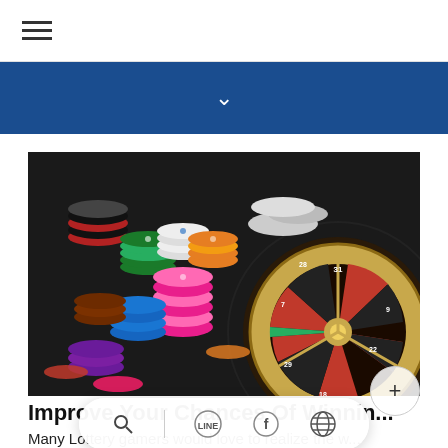≡ (hamburger menu)
[Figure (infographic): Dark blue navigation banner with a white downward chevron/arrow in the center]
[Figure (photo): Casino chips in various colors (red, green, black, orange, blue, pink, brown, purple) stacked on a dark surface beside a gold and black roulette wheel with numbered slots visible]
Improve Your Chances Of Winnin...
Many Lottery gamers would love to realize the w...